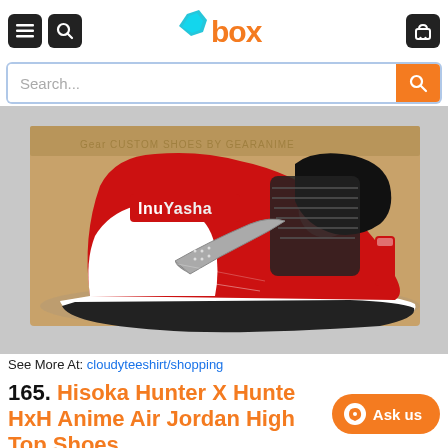[Figure (screenshot): Website header with hamburger menu, search icon, orange 'box' logo, and shopping cart icon on dark buttons]
[Figure (screenshot): Search bar with placeholder 'Search...' and orange search button]
[Figure (photo): Custom InuYasha anime Air Jordan 1 high top sneaker in red and white with the Tessaiga sword as the Nike swoosh design, displayed in front of a cardboard shoe box]
See More At: cloudyteeshirt/shopping
165. Hisoka Hunter X Hunter HxH Anime Air Jordan High Top Shoes